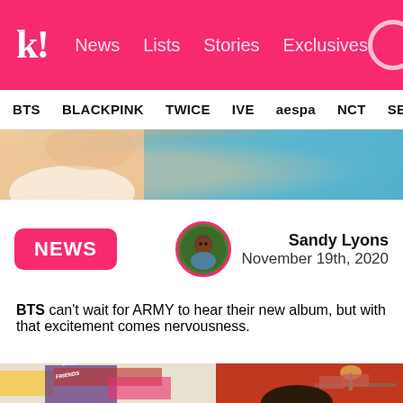k! News Lists Stories Exclusives
BTS BLACKPINK TWICE IVE aespa NCT SEVE
[Figure (photo): Partial photo of person in white clothing against teal/blue background, top of page]
NEWS
Sandy Lyons
November 19th, 2020
BTS can't wait for ARMY to hear their new album, but with that excitement comes nervousness.
[Figure (photo): Photo of person with dark hair in front of colorful signage/posters including 'FRIENDS' text, with red wall and sneakers on shelf in background]